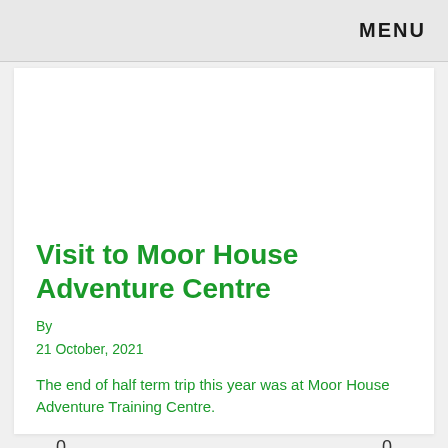MENU
Visit to Moor House Adventure Centre
By
21 October, 2021
The end of half term trip this year was at Moor House Adventure Training Centre.
0    0